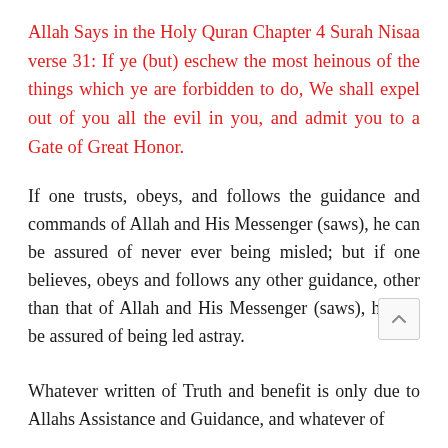Allah Says in the Holy Quran Chapter 4 Surah Nisaa verse 31: If ye (but) eschew the most heinous of the things which ye are forbidden to do, We shall expel out of you all the evil in you, and admit you to a Gate of Great Honor.
If one trusts, obeys, and follows the guidance and commands of Allah and His Messenger (saws), he can be assured of never ever being misled; but if one believes, obeys and follows any other guidance, other than that of Allah and His Messenger (saws), he can be assured of being led astray.
Whatever written of Truth and benefit is only due to Allahs Assistance and Guidance, and whatever of